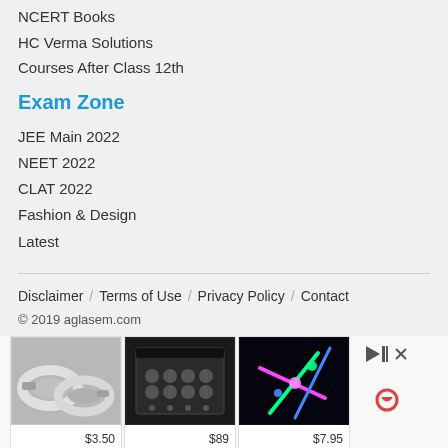NCERT Books
HC Verma Solutions
Courses After Class 12th
Exam Zone
JEE Main 2022
NEET 2022
CLAT 2022
Fashion & Design
Latest
Disclaimer / Terms of Use / Privacy Policy / Contact
© 2019 aglasem.com
[Figure (photo): Advertisement bar with three product images: silver USB ring drives ($3.50), a black cosmetic case ($89), and colorful glowing rods on black background ($7.95)]